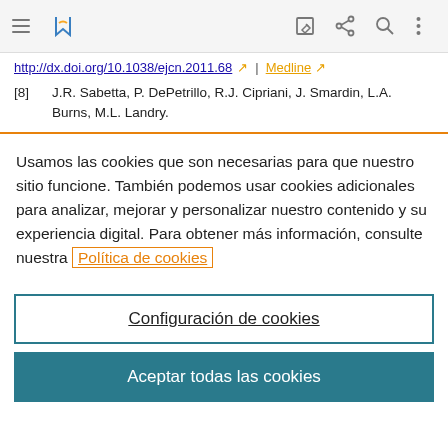[Figure (screenshot): Browser toolbar with hamburger menu, bookmark icon, edit icon, share icon, search icon, and more options icon on gray background]
http://dx.doi.org/10.1038/ejcn.2011.68  /  | Medline  /
[8]   J.R. Sabetta, P. DePetrillo, R.J. Cipriani, J. Smardin, L.A. Burns, M.L. Landry.
Usamos las cookies que son necesarias para que nuestro sitio funcione. También podemos usar cookies adicionales para analizar, mejorar y personalizar nuestro contenido y su experiencia digital. Para obtener más información, consulte nuestra Política de cookies
Configuración de cookies
Aceptar todas las cookies